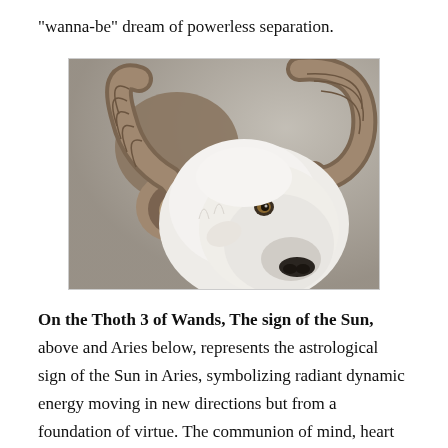"wanna-be" dream of powerless separation.
[Figure (photo): Close-up photograph of a white bighorn ram with large curved horns against a blurred grey background.]
On the Thoth 3 of Wands, The sign of the Sun, above and Aries below, represents the astrological sign of the Sun in Aries, symbolizing radiant dynamic energy moving in new directions but from a foundation of virtue. The communion of mind, heart and physical action, is a holy mass of